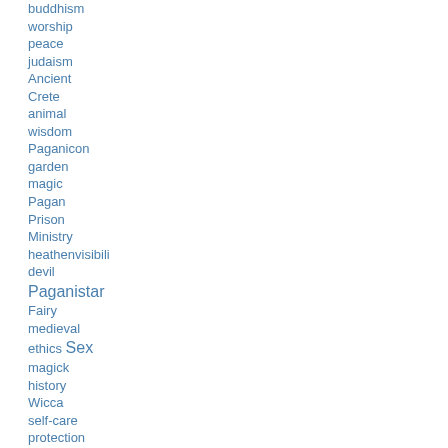buddhism
worship
peace
judaism
Ancient
Crete
animal
wisdom
Paganicon
garden
magic
Pagan
Prison
Ministry
heathenvisibili
devil
Paganistar
Fairy
medieval
ethics Sex
magick
history
Wicca
self-care
protection
Minoan
halloween
Pagan art
gratitude
magic
jewelry
Love
magic
Yule carols
amoret
briarrose
language of